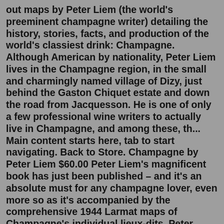out maps by Peter Liem (the world's preeminent champagne writer) detailing the history, stories, facts, and production of the world's classiest drink: Champagne. Although American by nationality, Peter Liem lives in the Champagne region, in the small and charmingly named village of Dizy, just behind the Gaston Chiquet estate and down the road from Jacquesson. He is one of only a few professional wine writers to actually live in Champagne, and among these, th... Main content starts here, tab to start navigating. Back to Store. Champagne by Peter Liem $60.00 Peter Liem's magnificent book has just been published – and it's an absolute must for any champagne lover, even more so as it's accompanied by the comprehensive 1944 Larmat maps of Champagne's individual lieux-dits. Peter Liem deftly tells the story of the real people and places that define one of the world's most important wine regions. With impeccable scholarship and detail, he redefines Champagne as a living, breathing place, one in the